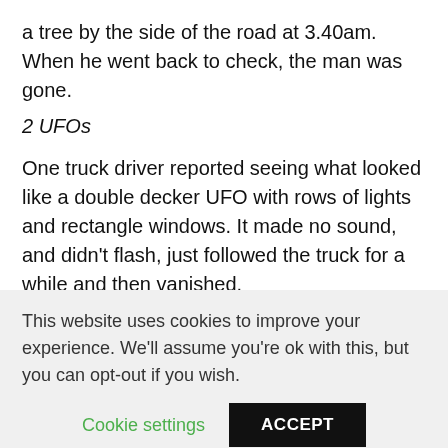a tree by the side of the road at 3.40am. When he went back to check, the man was gone.
2 UFOs
One truck driver reported seeing what looked like a double decker UFO with rows of lights and rectangle windows. It made no sound, and didn't flash, just followed the truck for a while and then vanished.
3 Feeling creeped out
This website uses cookies to improve your experience. We'll assume you're ok with this, but you can opt-out if you wish.
Cookie settings   ACCEPT